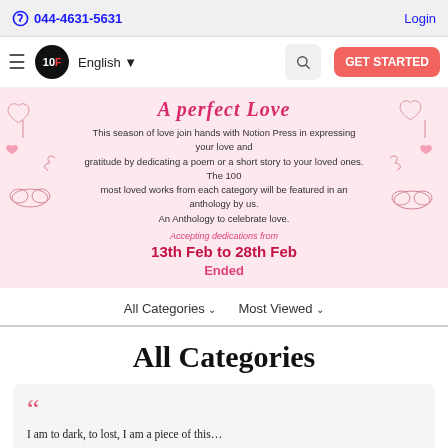044-4631-5631   Login
10F English ▾  GET STARTED
[Figure (illustration): Valentine's themed banner with hearts, balloons, clouds and script text 'A Perfect Love'. Pink background with decorative elements on left and right sides.]
This season of love join hands with Notion Press in expressing your love and gratitude by dedicating a poem or a short story to your loved ones. The 100 most loved works from each category will be featured in an anthology by us. An Anthology to celebrate love.
Accepting dedications from
13th Feb to 28th Feb
Ended
All Categories ∨   Most Viewed ∨
All Categories
““